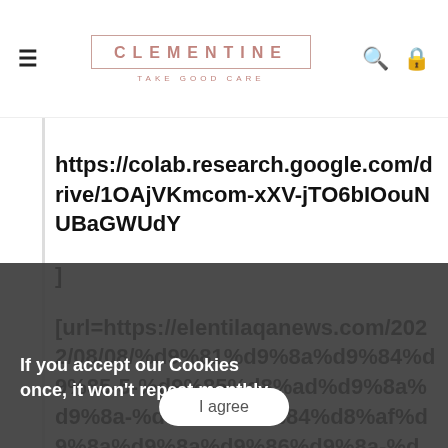CLEMENTINE — TAKE GOOD CARE
https://colab.research.google.com/drive/1OAjVKmcom-xXV-jTO6bIOouNUBaGWUdY

]
[url=https://elentilaqanews.com/2022/08/08/%d9%81%d9%8a%d9%84%d9%85-5-%d9%85%d8%ad%d9%8a%d9%8a-%d8%a7%d9%84%d8%af%d9%8a%d9%8a%d9%86%d9%8a-%d8%a7%d9%84%d8%a3%d8%a8%d9%88-%d8%b2%d9%8a%d8%a8%d9%84%d8%a3%d8%a8%d9%88-%d8%b2%d9%8a%d8%a8%d9%84-%d8%a3%d8%a8%d9%88%d8%a8%d9%84-%d8%a3%d8%a8%d9%88-%d8%b2%d9%8a%d8%a8%d9%84%d8%a3%d8%a8%d9%88-%d8%b2%d9%8a%d8%a8%d9%84%d8%a3%d8%a8%d9%88-%d8%b2%d9%8a%d8%a8%d9%84%d8%a3%d8%a8%d9%88-%d8%b2%d9%8a%d8%a8%d9%8a-%d8%a8%d9%84-%d8%a3%d8%a8%d9%88-%d8%b2%d9%8a%d8%a8%d9%84%d8%a3%d8%a8%d9%88-%d8%b2%d9%8a%d8%a8%d9%8a/
If you accept our Cookies once, it won't repeat monthly.
I agree